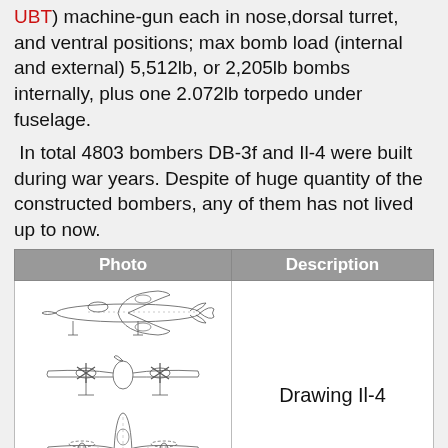UBT) machine-gun each in nose, dorsal turret, and ventral positions; max bomb load (internal and external) 5,512lb, or 2,205lb bombs internally, plus one 2.072lb torpedo under fuselage.
In total 4803 bombers DB-3f and Il-4 were built during war years. Despite of huge quantity of the constructed bombers, any of them has not lived up to now.
| Photo | Description |
| --- | --- |
| [Aircraft technical drawings - three views of Il-4 bomber] | Drawing Il-4 |